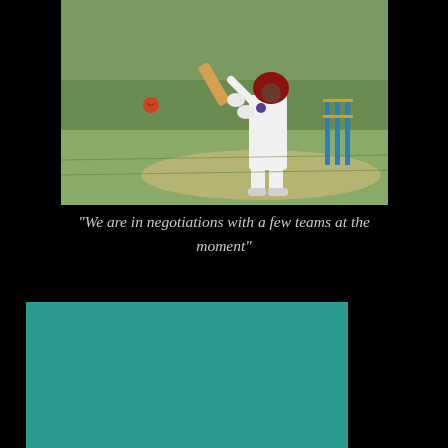[Figure (photo): A West Indies cricket batsman in white uniform with maroon helmet playing a shot on a cricket pitch, with blue stumps visible and a red ball in the air, on a green grass field.]
“We are in negotiations with a few teams at the moment”
[Figure (other): A solid teal/turquoise colored rectangular block in the lower portion of the page.]